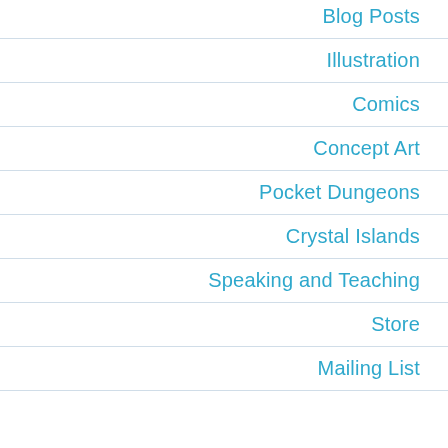Blog Posts
Illustration
Comics
Concept Art
Pocket Dungeons
Crystal Islands
Speaking and Teaching
Store
Mailing List